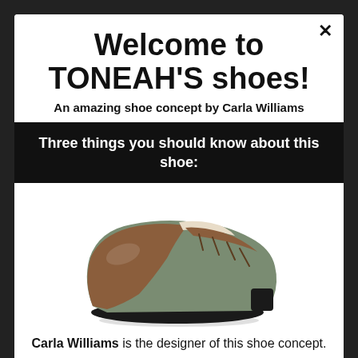Welcome to TONEAH'S shoes!
An amazing shoe concept by Carla Williams
Three things you should know about this shoe:
[Figure (photo): A two-tone oxford dress shoe with olive/grey body and brown leather toe cap and laces, on a white background]
Carla Williams is the designer of this shoe concept.